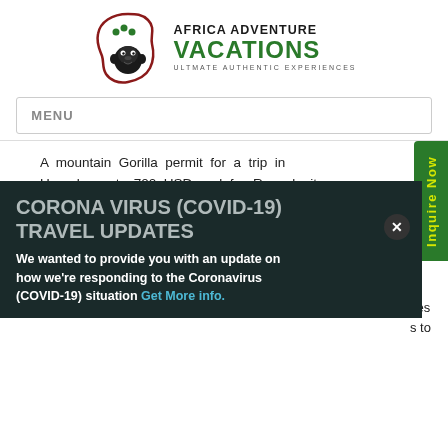[Figure (logo): Africa Adventure Vacations logo with gorilla and Africa continent outline in dark red, text reads AFRICA ADVENTURE VACATIONS ULTIMATE AUTHENTIC EXPERIENCES]
MENU
A mountain Gorilla permit for a trip in Uganda costs 700 USD and for Rwanda it costs 1500USD.
Uganda Gorilla Tours.
Uganda Gorilla Tours start with an amazing of and
CORONA VIRUS (COVID-19) TRAVEL UPDATES
We wanted to provide you with an update on how we're responding to the Coronavirus (COVID-19) situation Get More info.